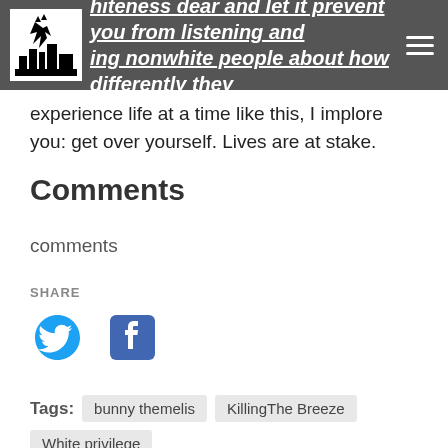hiteness dear and let it prevent you from listening and ing nonwhite people about how differently they
experience life at a time like this, I implore you: get over yourself. Lives are at stake.
Comments
comments
SHARE
[Figure (logo): Twitter bird logo icon in blue]
[Figure (logo): Facebook F logo icon in blue]
Tags: bunny themelis  KillingThe Breeze  White privilege